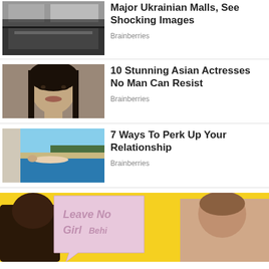[Figure (photo): Partially visible image of a burning or damaged Ukrainian mall building]
Major Ukrainian Malls, See Shocking Images
Brainberries
[Figure (photo): Portrait of a beautiful Asian woman with long dark hair and striking eyes]
10 Stunning Asian Actresses No Man Can Resist
Brainberries
[Figure (photo): Person swimming in an infinity pool with scenic outdoor view]
7 Ways To Perk Up Your Relationship
Brainberries
[Figure (photo): Yellow background image with a speech bubble reading 'Leave No Girl Behind' and two people visible]